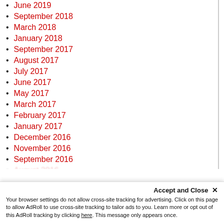June 2019
September 2018
March 2018
January 2018
September 2017
August 2017
July 2017
June 2017
May 2017
March 2017
February 2017
January 2017
December 2016
November 2016
September 2016
August 2016
Your browser settings do not allow cross-site tracking for advertising. Click on this page to allow AdRoll to use cross-site tracking to tailor ads to you. Learn more or opt out of this AdRoll tracking by clicking here. This message only appears once.